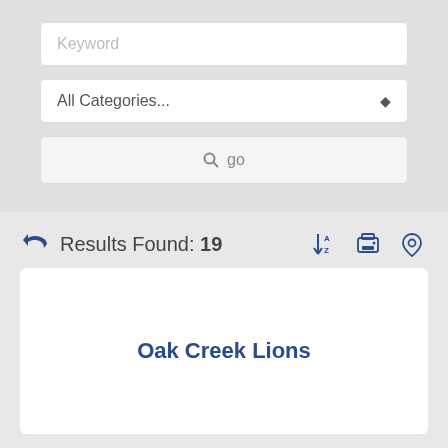[Figure (screenshot): Search form with Keyword input field, All Categories dropdown, and go button]
Results Found: 19
Oak Creek Lions